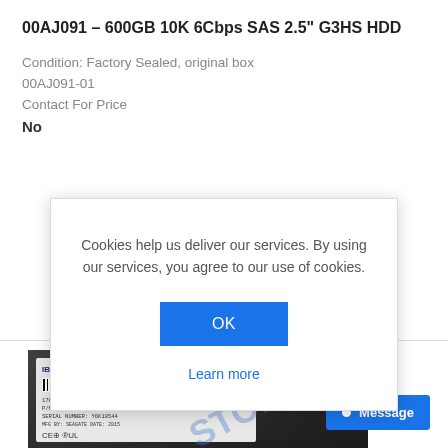00AJ091 – 600GB 10K 6Cbps SAS 2.5" G3HS HDD
Condition: Factory Sealed, original box
00AJ091-01
Contact For Price
No
Cookies help us deliver our services. By using our services, you agree to our use of cookies.
OK
Learn more
[Figure (photo): Photo of a 600GB SAS 2.5 inch hard disk drive with label and certification markings]
Message